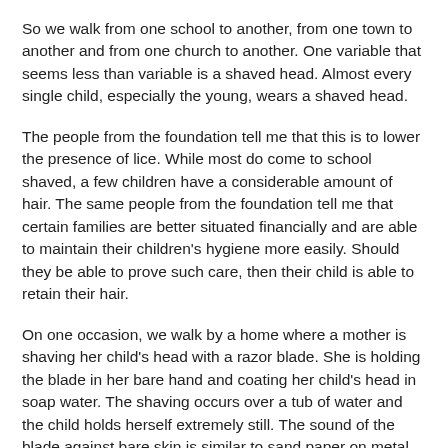So we walk from one school to another, from one town to another and from one church to another. One variable that seems less than variable is a shaved head. Almost every single child, especially the young, wears a shaved head.
The people from the foundation tell me that this is to lower the presence of lice. While most do come to school shaved, a few children have a considerable amount of hair. The same people from the foundation tell me that certain families are better situated financially and are able to maintain their children's hygiene more easily. Should they be able to prove such care, then their child is able to retain their hair.
On one occasion, we walk by a home where a mother is shaving her child's head with a razor blade. She is holding the blade in her bare hand and coating her child's head in soap water. The shaving occurs over a tub of water and the child holds herself extremely still. The sound of the blade against bare skin is similar to sand paper on metal.
She notices us to the side, smiles and continues with the